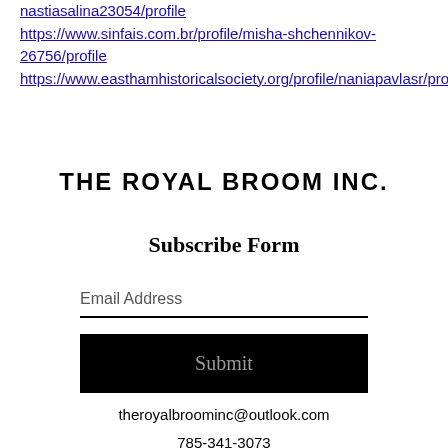nastiasalina23054/profile
https://www.sinfais.com.br/profile/misha-shchennikov-26756/profile
https://www.easthamhistoricalsociety.org/profile/naniapavlasr/profile
THE ROYAL BROOM INC.
Subscribe Form
Email Address
Submit
theroyalbroominc@outlook.com
785-341-3073